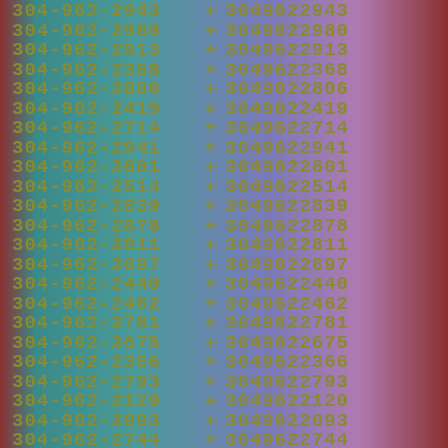304-962-2943 + 3049622943
304-962-2980 + 3049622980
304-962-2913 + 3049622913
304-962-2368 + 3049622368
304-962-2806 + 3049622806
304-962-2419 + 3049622419
304-962-2714 + 3049622714
304-962-2941 + 3049622941
304-962-2801 + 3049622801
304-962-2514 + 3049622514
304-962-2839 + 3049622839
304-962-2878 + 3049622878
304-962-2811 + 3049622811
304-962-2697 + 3049622697
304-962-2440 + 3049622440
304-962-2462 + 3049622462
304-962-2781 + 3049622781
304-962-2675 + 3049622675
304-962-2366 + 3049622366
304-962-2793 + 3049622793
304-962-2120 + 3049622120
304-962-2093 + 3049622093
304-962-2744 + 3049622744